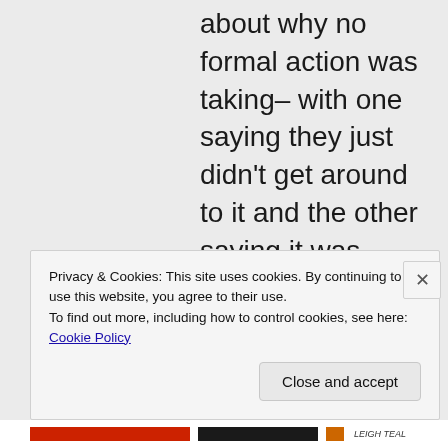about why no formal action was taking– with one saying they just didn't get around to it and the other saying it was intentional.
Privacy & Cookies: This site uses cookies. By continuing to use this website, you agree to their use. To find out more, including how to control cookies, see here: Cookie Policy
Close and accept